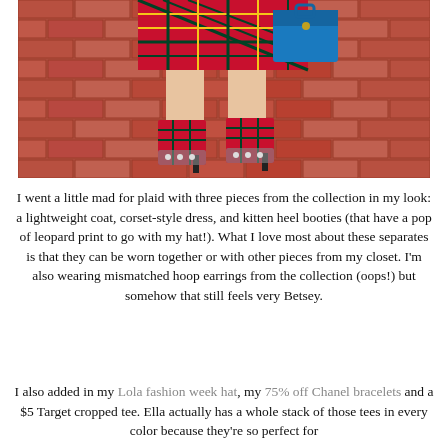[Figure (photo): Photo of a person's lower body wearing a red plaid corset-style dress and plaid kitten heel booties with embellishments, carrying a blue handbag, standing on a red brick sidewalk.]
I went a little mad for plaid with three pieces from the collection in my look: a lightweight coat, corset-style dress, and kitten heel booties (that have a pop of leopard print to go with my hat!). What I love most about these separates is that they can be worn together or with other pieces from my closet. I'm also wearing mismatched hoop earrings from the collection (oops!) but somehow that still feels very Betsey.
I also added in my Lola fashion week hat, my 75% off Chanel bracelets and a $5 Target cropped tee. Ella actually has a whole stack of those tees in every color because they're so perfect for